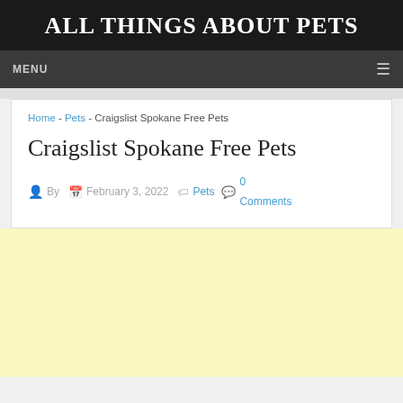ALL THINGS ABOUT PETS
MENU
Home - Pets - Craigslist Spokane Free Pets
Craigslist Spokane Free Pets
By  February 3, 2022  Pets  0 Comments
[Figure (other): Advertisement placeholder area with pale yellow background]